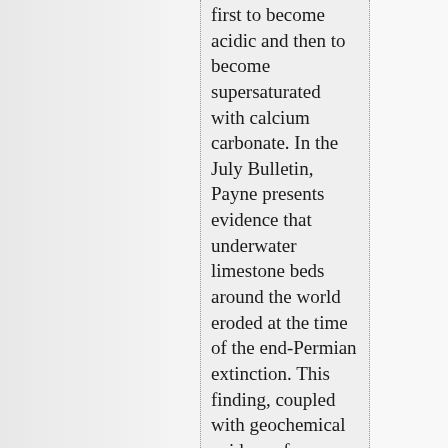first to become acidic and then to become supersaturated with calcium carbonate. In the July Bulletin, Payne presents evidence that underwater limestone beds around the world eroded at the time of the end-Permian extinction. This finding, coupled with geochemical evidence for